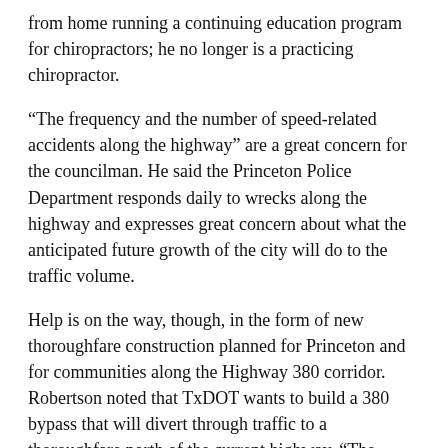from home running a continuing education program for chiropractors; he no longer is a practicing chiropractor.
“The frequency and the number of speed-related accidents along the highway” are a great concern for the councilman. He said the Princeton Police Department responds daily to wrecks along the highway and expresses great concern about what the anticipated future growth of the city will do to the traffic volume.
Help is on the way, though, in the form of new thoroughfare construction planned for Princeton and for communities along the Highway 380 corridor. Robertson noted that TxDOT wants to build a 380 bypass that will divert through traffic to a thoroughfare north of the current highway. “The bypass eventually will relieve a lot of the traffic congestion,” Robertson said.
Moreover, the city plans to turn Myrick Avenue south of the